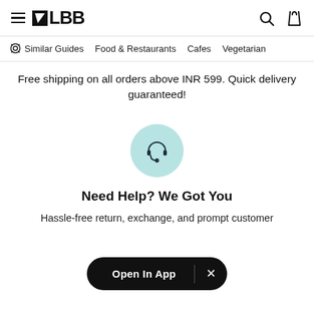≡ LBB  [search] [bag]
Similar Guides   Food & Restaurants   Cafes   Vegetarian
Free shipping on all orders above INR 599. Quick delivery guaranteed!
[Figure (illustration): Customer support headset icon inside a light teal/mint circle]
Need Help? We Got You
Hassle-free return, exchange, and prompt customer
Open In App  ×